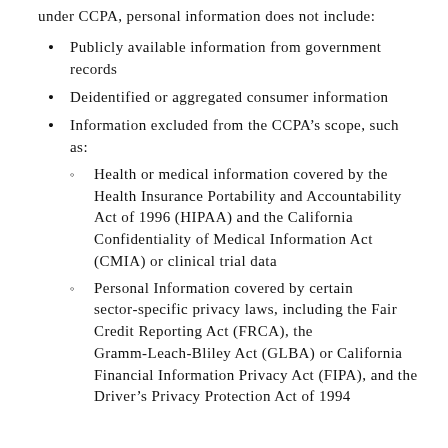under CCPA, personal information does not include:
Publicly available information from government records
Deidentified or aggregated consumer information
Information excluded from the CCPA’s scope, such as:
Health or medical information covered by the Health Insurance Portability and Accountability Act of 1996 (HIPAA) and the California Confidentiality of Medical Information Act (CMIA) or clinical trial data
Personal Information covered by certain sector-specific privacy laws, including the Fair Credit Reporting Act (FRCA), the Gramm-Leach-Bliley Act (GLBA) or California Financial Information Privacy Act (FIPA), and the Driver’s Privacy Protection Act of 1994